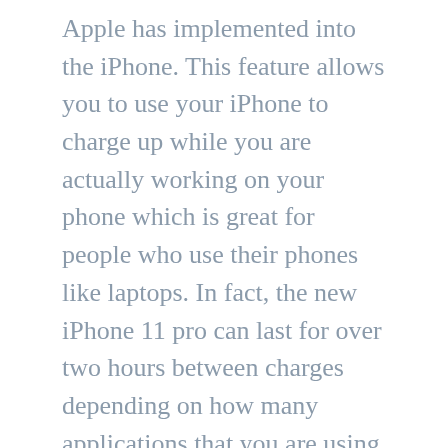Apple has implemented into the iPhone. This feature allows you to use your iPhone to charge up while you are actually working on your phone which is great for people who use their phones like laptops. In fact, the new iPhone 11 pro can last for over two hours between charges depending on how many applications that you are using and how heavy your finger is making your finger to hold onto the phone.
One feature that the new iPhone 11 has that you may want to check out is the ability to connect to the internet via a wifi connection. With the older devices you either had to be online through your cellular provider or you would use an antenna to connect to the internet. You can now get this same connectivity when you take the new iPhone 11 Pro to the office or to school and use the wifi